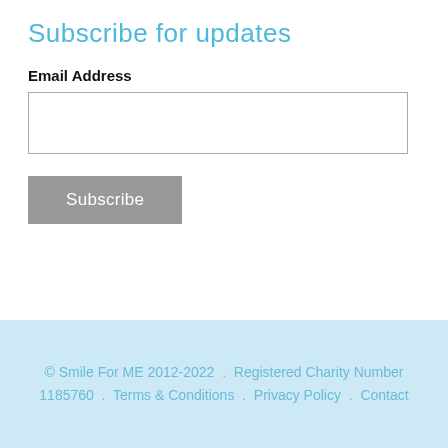Subscribe for updates
Email Address
[Figure (other): Email address text input field]
[Figure (other): Subscribe button]
© Smile For ME 2012-2022 . Registered Charity Number 1185760 . Terms & Conditions . Privacy Policy . Contact